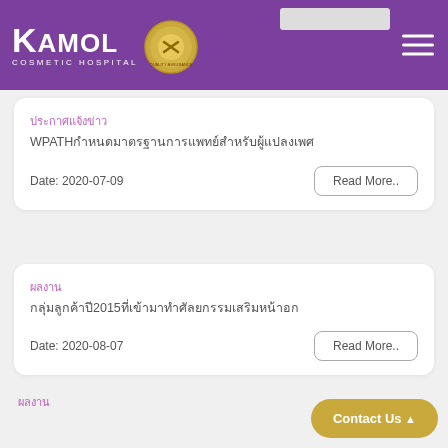KAMOL COSMETIC HOSPITAL
ประกาศแจ้งข่าว
WPATHกำหนดมาตรฐานการแพทย์สำหรับผู้แปลงเพศ
Date: 2020-07-09
Read More..
ผลงาน
กลุ่มลูกค้าปี2015ที่เข้ามาทำศัลยกรรมเสริมหน้าอก
Date: 2020-08-07
Read More..
ผลงาน
Contact Us